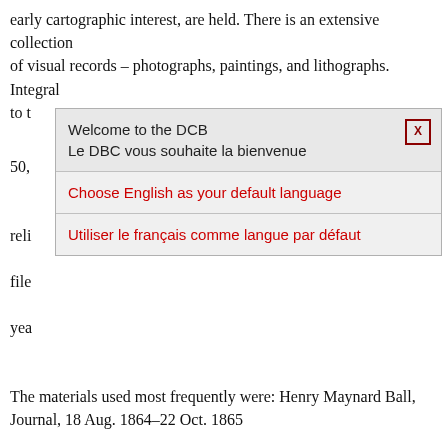early cartographic interest, are held. There is an extensive collection of visual records – photographs, paintings, and lithographs. Integral to [obscured by dialog] 50, [obscured] rela[ted] file[s] yea[rs]
[Figure (screenshot): Dialog box overlay: 'Welcome to the DCB / Le DBC vous souhaite la bienvenue' with X close button, followed by two options: 'Choose English as your default language' and 'Utiliser le français comme langue par défaut']
The materials used most frequently were: Henry Maynard Ball, Journal, 18 Aug. 1864–22 Oct. 1865
British Columbia, Colonial secretary, Correspondence outward, May 1859–December 1870. 8 vols. Letterbook copies.
British Columbia, Governor, Despatches to
London, 14 Sept. 1863–31 Dec. 1867; 11 Jan. 1868–24 July 1871. Letterbook copies.
Colonial correspondence. An artificial series created from the letters inward to departments of the colonial governments of British